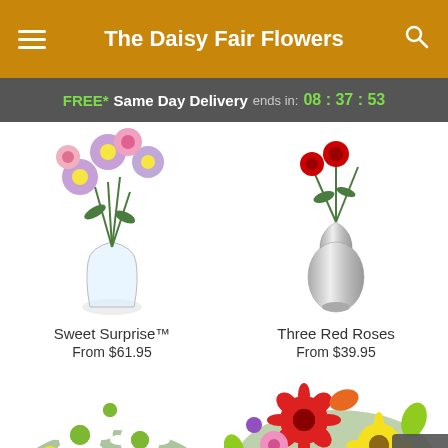The Daisy Fair Flowers
FREE* Same Day Delivery ends in: 08 : 37 : 53
[Figure (photo): Flower arrangement – Sweet Surprise™, mixed pink and purple flowers in a round glass vase]
Sweet Surprise™
From $61.95
[Figure (photo): Three Red Roses in a silver vase – partially shown]
Three Red Roses
From $39.95
[Figure (photo): White daisy flower arrangement with yellow accents]
[Figure (photo): Colorful mixed flower bouquet with red gerbera, yellow sunflowers, orange alstroemeria and purple accents]